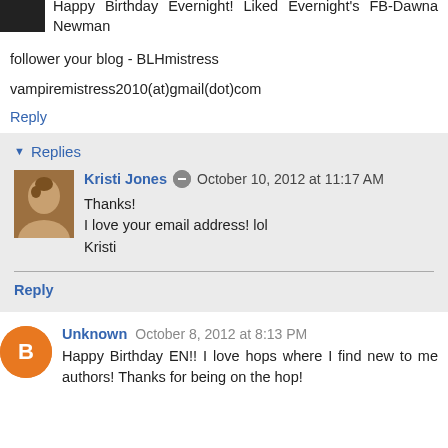Happy Birthday Evernight! Liked Evernight's FB-Dawna Newman
follower your blog - BLHmistress
vampiremistress2010(at)gmail(dot)com
Reply
Replies
Kristi Jones  October 10, 2012 at 11:17 AM
Thanks!
I love your email address! lol
Kristi
Reply
Unknown  October 8, 2012 at 8:13 PM
Happy Birthday EN!! I love hops where I find new to me authors! Thanks for being on the hop!